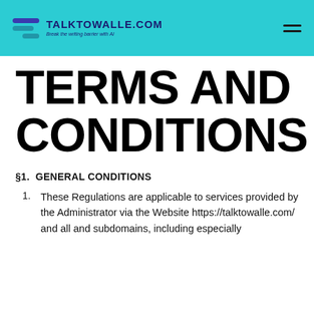TALKTOWALLE.COM — Break the writing barrier with AI
TERMS AND CONDITIONS
§1. GENERAL CONDITIONS
These Regulations are applicable to services provided by the Administrator via the Website https://talktowalle.com/ and all and subdomains, including especially